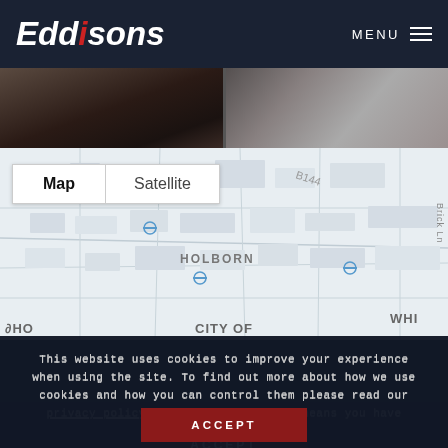Eddisons — MENU
[Figure (photo): Two cropped interior photos side by side showing dark equipment/furniture]
[Figure (map): Google Maps street map showing Holborn, Soho, City of London, Whitechapel area with Map/Satellite toggle buttons]
This website uses cookies to improve your experience when using the site. To find out more about how we use cookies and how you can control them please read our privacy policy. Use of this website means you have accepted the policy.
ACCEPT